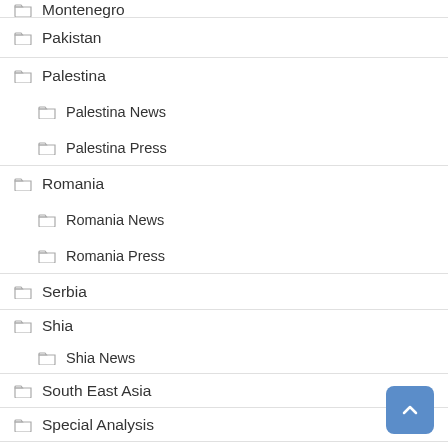Montenegro
Pakistan
Palestina
Palestina News
Palestina Press
Romania
Romania News
Romania Press
Serbia
Shia
Shia News
South East Asia
Special Analysis
Special Reporters
Turkey